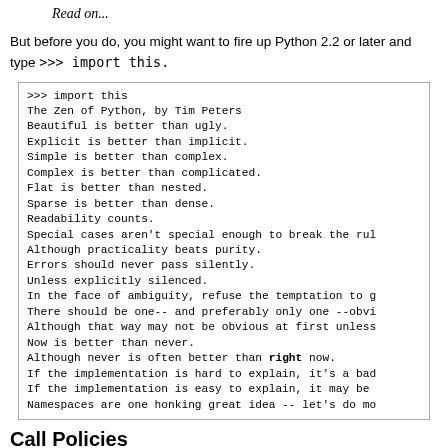Read on...
But before you do, you might want to fire up Python 2.2 or later and type >>> import this.
>>> import this
The Zen of Python, by Tim Peters
Beautiful is better than ugly.
Explicit is better than implicit.
Simple is better than complex.
Complex is better than complicated.
Flat is better than nested.
Sparse is better than dense.
Readability counts.
Special cases aren't special enough to break the rul
Although practicality beats purity.
Errors should never pass silently.
Unless explicitly silenced.
In the face of ambiguity, refuse the temptation to g
There should be one-- and preferably only one --obvi
Although that way may not be obvious at first unless
Now is better than never.
Although never is often better than right now.
If the implementation is hard to explain, it's a bad
If the implementation is easy to explain, it may be
Namespaces are one honking great idea -- let's do mo
Call Policies